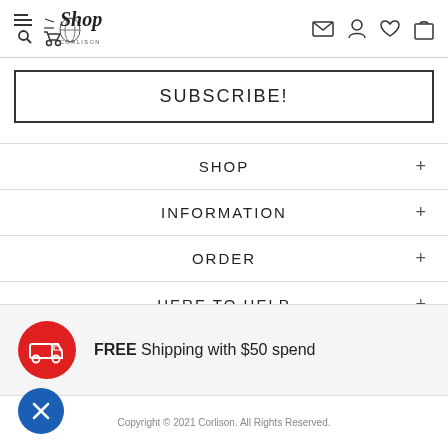ShopCorlison navigation header with logo, search/hamburger menu, mail, user, wishlist, and cart icons
SUBSCRIBE!
SHOP +
INFORMATION +
ORDER +
HERE TO HELP +
FREE Shipping with $50 spend
Copyright © 2021 Corlison. All Rights Reserved.